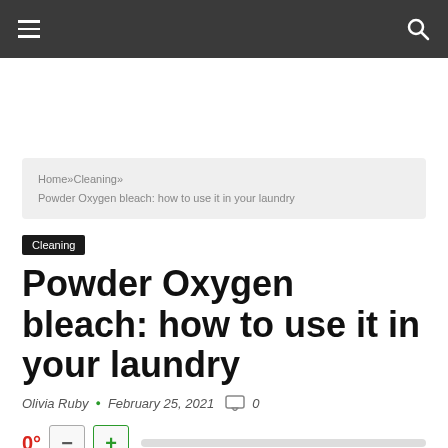Home»Cleaning»
Powder Oxygen bleach: how to use it in your laundry
Cleaning
Powder Oxygen bleach: how to use it in your laundry
Olivia Ruby • February 25, 2021 💬 0
0° — + [slider]